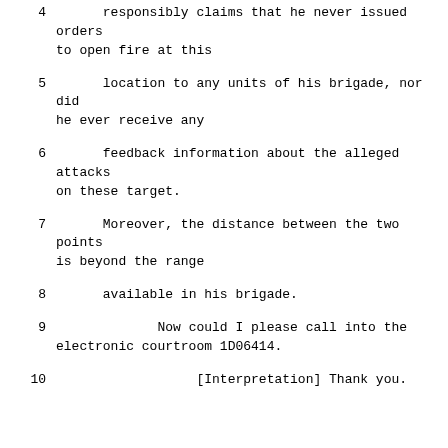4      responsibly claims that he never issued orders to open fire at this
5      location to any units of his brigade, nor did he ever receive any
6      feedback information about the alleged attacks on these target.
7      Moreover, the distance between the two points is beyond the range
8      available in his brigade.
9             Now could I please call into the electronic courtroom 1D06414.
10                  [Interpretation] Thank you.